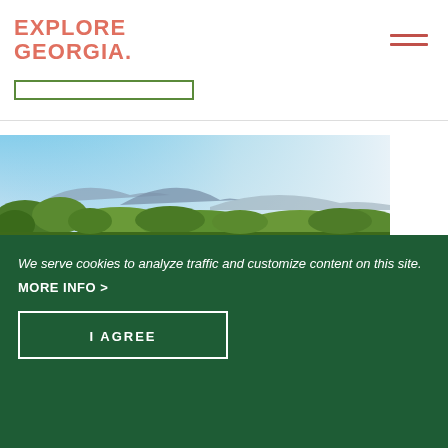EXPLORE GEORGIA
[Figure (photo): Landscape photo showing mountains and green foliage under a blue sky with light clouds]
We serve cookies to analyze traffic and customize content on this site.
MORE INFO >
I AGREE